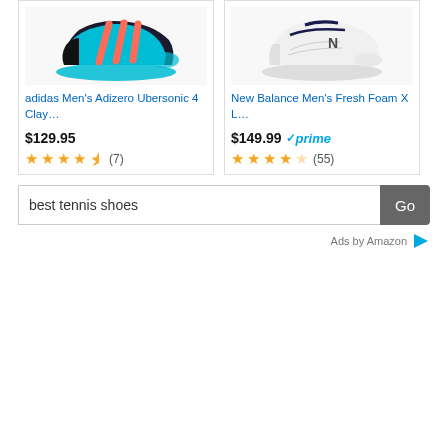[Figure (photo): adidas Men's Adizero Ubersonic 4 Clay tennis shoe - teal/black/coral colors]
[Figure (photo): New Balance Men's Fresh Foam X L tennis shoe - white with black logo]
adidas Men's Adizero Ubersonic 4 Clay...
New Balance Men's Fresh Foam X L...
$129.95
$149.99 prime
(7)
(55)
best tennis shoes
Go
Ads by Amazon